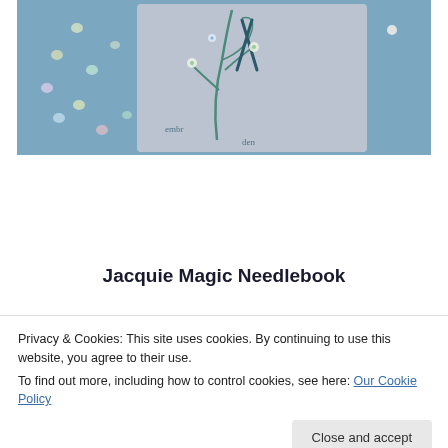[Figure (photo): Photo of an embroidered needlebook with floral and leaf design on a grey textured cover with sequins scattered on a blue background]
Jacquie Magic Needlebook
Privacy & Cookies: This site uses cookies. By continuing to use this website, you agree to their use.
To find out more, including how to control cookies, see here: Our Cookie Policy